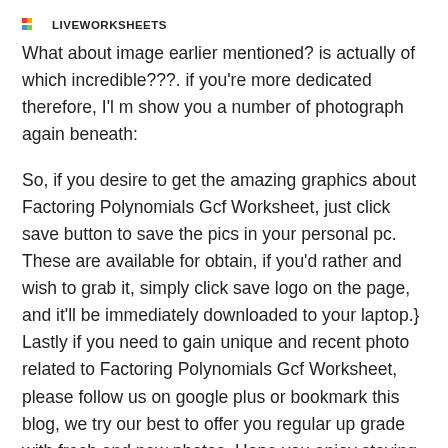LIVEWORKSHEETS
What about image earlier mentioned? is actually of which incredible???. if you're more dedicated therefore, I'l m show you a number of photograph again beneath:
So, if you desire to get the amazing graphics about Factoring Polynomials Gcf Worksheet, just click save button to save the pics in your personal pc. These are available for obtain, if you'd rather and wish to grab it, simply click save logo on the page, and it'll be immediately downloaded to your laptop.} Lastly if you need to gain unique and recent photo related to Factoring Polynomials Gcf Worksheet, please follow us on google plus or bookmark this blog, we try our best to offer you regular up grade with fresh and new photos. Hope you enjoy staying right here. For most up-dates